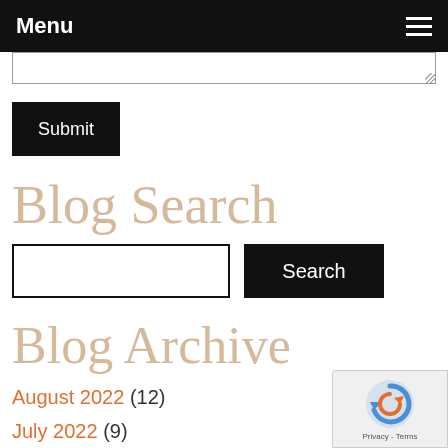Menu
Submit
Blog Search
Search
Blog Archive
August 2022 (12)
July 2022 (9)
June 2022 (17)